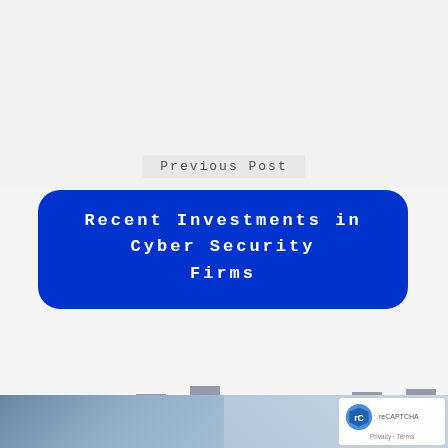Previous Post
Recent Investments in Cyber Security Firms
[Figure (stacked-bar-chart): Investments in Cyber Security Firms by Sector]